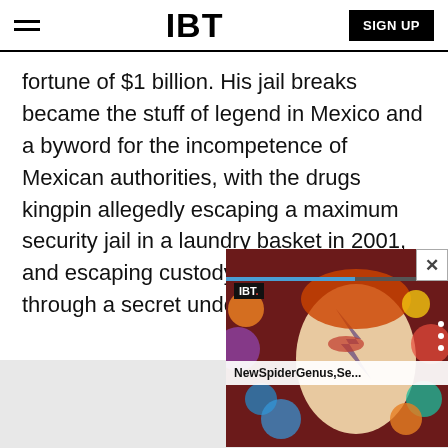IBT — SIGN UP
fortune of $1 billion. His jail breaks became the stuff of legend in Mexico and a byword for the incompetence of Mexican authorities, with the drugs kingpin allegedly escaping a maximum security jail in a laundry basket in 2001, and escaping custody again in 2014 through a secret underground tunnel.
[Figure (screenshot): IBT video ad overlay showing a David Bowie Ziggy Stardust face with colorful planets/bubbles in the background, with IBT logo, three-dot menu, progress bar, close button (X), and title bar reading 'NewSpiderGenus,Se...']